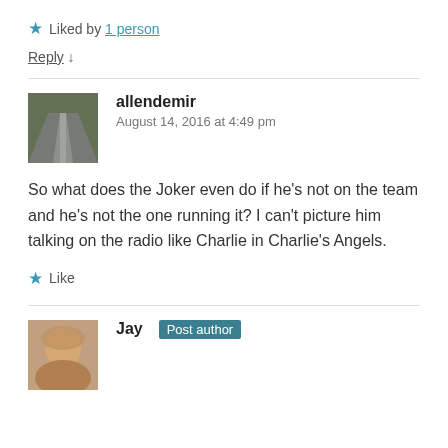★ Liked by 1 person
Reply ↓
allendemir
August 14, 2016 at 4:49 pm
So what does the Joker even do if he's not on the team and he's not the one running it? I can't picture him talking on the radio like Charlie in Charlie's Angels.
★ Like
Jay [Post author]